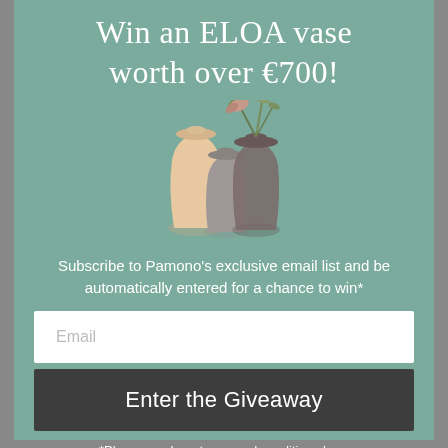Win an ELOA vase worth over €700!
[Figure (illustration): Three decorative glass vases of different sizes and colors — a cream/peach large vase, a grey medium vase, and a dark smoky glass vase with plant stems — on a teal-green background.]
Subscribe to Pamono's exclusive email list and be automatically entered for a chance to win*
Email
Enter the Giveaway
*Please read our terms and conditions here